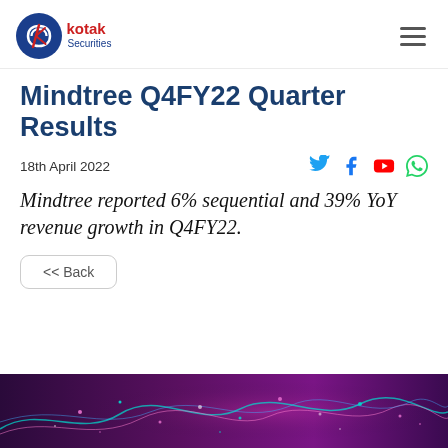Kotak Securities
Mindtree Q4FY22 Quarter Results
18th April 2022
Mindtree reported 6% sequential and 39% YoY revenue growth in Q4FY22.
<< Back
[Figure (photo): Abstract digital/financial background image with glowing lines and dots in purple, pink, and teal colors]